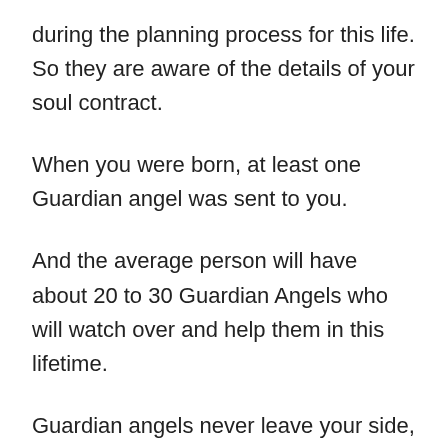during the planning process for this life. So they are aware of the details of your soul contract.
When you were born, at least one Guardian angel was sent to you.
And the average person will have about 20 to 30 Guardian Angels who will watch over and help them in this lifetime.
Guardian angels never leave your side, no matter what happens. However, there are other Guardian angels who come in at certain